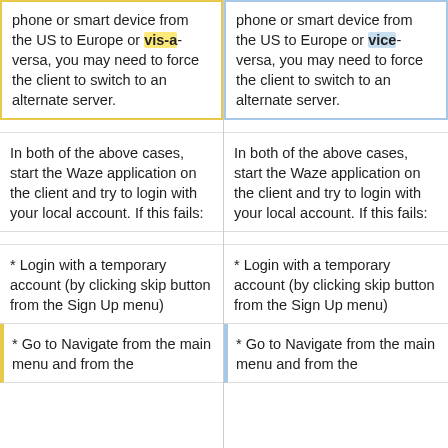phone or smart device from the US to Europe or vis-a-versa, you may need to force the client to switch to an alternate server.
phone or smart device from the US to Europe or vice-versa, you may need to force the client to switch to an alternate server.
In both of the above cases, start the Waze application on the client and try to login with your local account. If this fails:
In both of the above cases, start the Waze application on the client and try to login with your local account. If this fails:
* Login with a temporary account (by clicking skip button from the Sign Up menu)
* Login with a temporary account (by clicking skip button from the Sign Up menu)
* Go to Navigate from the main menu and from the
* Go to Navigate from the main menu and from the